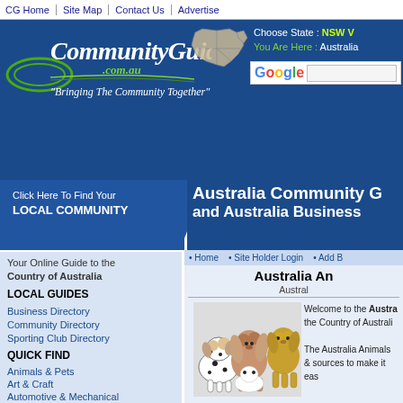CG Home | Site Map | Contact Us | Advertise
[Figure (logo): CommunityGuide.com.au logo with green swoosh and tagline 'Bringing The Community Together']
[Figure (map): Outline map of Australia]
Choose State : NSW V
You Are Here : Australia
[Figure (logo): Google search bar with Google logo and text input]
Click Here To Find Your LOCAL COMMUNITY
Australia Community G and Australia Business
• Home  • Site Holder Login  • Add B
Your Online Guide to the Country of Australia
LOCAL GUIDES
Business Directory
Community Directory
Sporting Club Directory
QUICK FIND
Animals & Pets
Art & Craft
Automotive & Mechanical
Building & Construction
Clothing & Fashion
Community Groups
Computers & Electrical
Entertainment & Leisure
Food & Liquor
Hair & Beauty
Health & Fitness
Australia An
Austral
[Figure (illustration): Group of dogs illustration including Dalmatian, Spaniel, and Golden Retriever]
Welcome to the Austra the Country of Australia. The Australia Animals & sources to make it eas